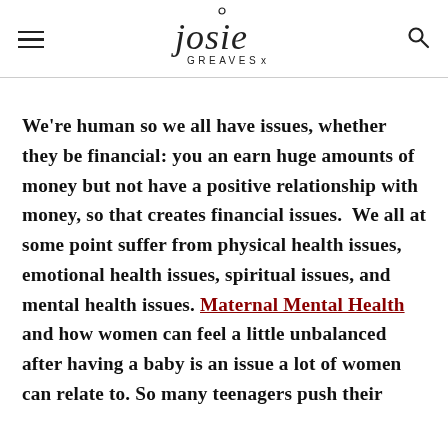Josie Greaves x [logo]
We're human so we all have issues, whether they be financial: you an earn huge amounts of money but not have a positive relationship with money, so that creates financial issues.  We all at some point suffer from physical health issues, emotional health issues, spiritual issues, and mental health issues. Maternal Mental Health and how women can feel a little unbalanced after having a baby is an issue a lot of women can relate to. So many teenagers push their